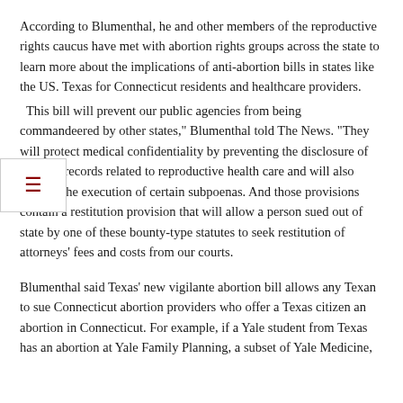According to Blumenthal, he and other members of the reproductive rights caucus have met with abortion rights groups across the state to learn more about the implications of anti-abortion bills in states like the US. Texas for Connecticut residents and healthcare providers.
This bill will prevent our public agencies from being commandeered by other states," Blumenthal told The News. "They will protect medical confidentiality by preventing the disclosure of medical records related to reproductive health care and will also prevent the execution of certain subpoenas. And those provisions contain a restitution provision that will allow a person sued out of state by one of these bounty-type statutes to seek restitution of attorneys' fees and costs from our courts.
Blumenthal said Texas' new vigilante abortion bill allows any Texan to sue Connecticut abortion providers who offer a Texas citizen an abortion in Connecticut. For example, if a Yale student from Texas has an abortion at Yale Family Planning, a subset of Yale Medicine,